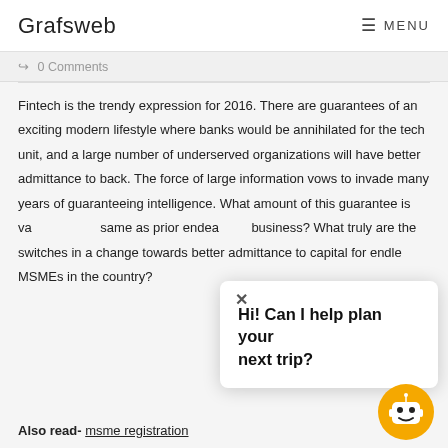Grafsweb   ≡ MENU
↳  0 Comments
Fintech is the trendy expression for 2016. There are guarantees of an exciting modern lifestyle where banks would be annihilated for the tech unit, and a large number of underserved organizations will have better admittance to back. The force of large information vows to invade many years of guaranteeing intelligence. What amount of this guarantee is va... same as prior endea... business? What truly are the switches in a change towards better admittance to capital for endle... MSMEs in the country?
[Figure (other): Chatbot popup overlay with close button (×) and message: Hi! Can I help plan your next trip? with a yellow robot/chatbot icon in the bottom right corner.]
Also read- msme registration